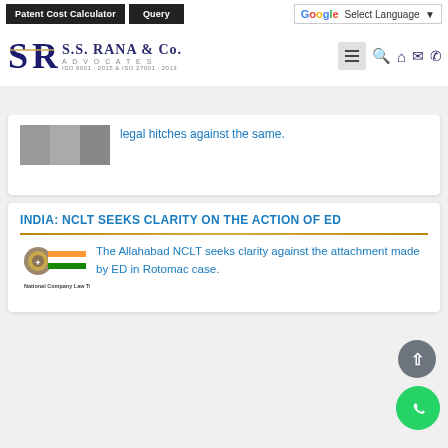S.S. RANA & CO. ADVOCATES – ISO 9001:2015 & ISO 27001:2013 | Patent Cost Calculator | Query | Select Language
legal hitches against the same.
INDIA: NCLT SEEKS CLARITY ON THE ACTION OF ED
The Allahabad NCLT seeks clarity against the attachment made by ED in Rotomac case.